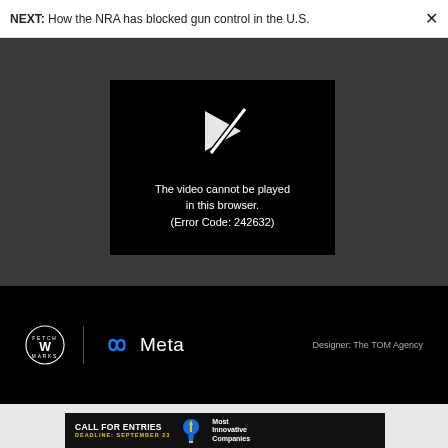NEXT: How the NRA has blocked gun control in the U.S.
[Figure (screenshot): Video player showing error message: 'The video cannot be played in this browser. (Error Code: 242632)' on black background with broken play icon, inside dark gray video player area.]
[Figure (logo): Black bar with Fetch Marks 'W' circle logo, vertical divider, Meta infinity logo and text 'Meta', and text 'Designer: The TOM Agency' on the right.]
[Figure (infographic): Black banner ad: 'CALL FOR ENTRIES DEADLINE: SEPTEMBER 23' with lightbulb icon and 'Most Innovative Companies' text on right.]